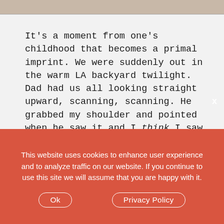[Figure (photo): Partial image visible at the top of the page, cropped — appears to be an outdoor or scenic photograph.]
It's a moment from one's childhood that becomes a primal imprint. We were suddenly out in the warm LA backyard twilight. Dad had us all looking straight upward, scanning, scanning. He grabbed my shoulder and pointed when he saw it and I think I saw it too. It was not a bird. Not a plane. Not a shooting star. I'd seen all of those. This was different: a glinting dot moving in a speedy soundless arc directly overhead!
This website uses cookies to enhance user experience and to analyze traffic on our website. If you continue to use this site we will assume that you are happy with it.
Ok   Privacy Policy